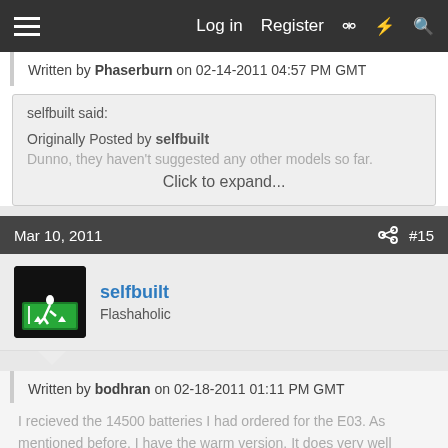Log in   Register
Written by Phaserburn on 02-14-2011 04:57 PM GMT
selfbuilt said:
Originally Posted by selfbuilt
Dunno, they haven't suggested any other models so far.
Click to expand...
Mar 10, 2011   #15
selfbuilt
Flashaholic
Written by bodhran on 02-18-2011 01:11 PM GMT
I recieved the 14500 batteries I had ordered for the E03. As mentioned before, I have the warm version. It does very well